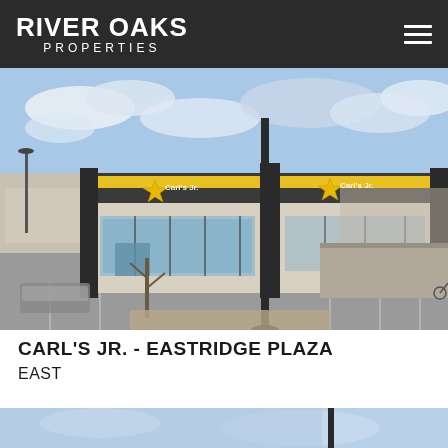River Oaks Properties
[Figure (photo): Exterior photo of Carl's Jr. restaurant at Eastridge Plaza, showing the building facade with yellow star logo, dark trim, large windows, parking lot, and blue sky with clouds.]
CARL'S JR. - EASTRIDGE PLAZA
EAST
[Figure (photo): Partial photo at bottom of page showing blue sky and what appears to be a street pole or sign, cropped.]